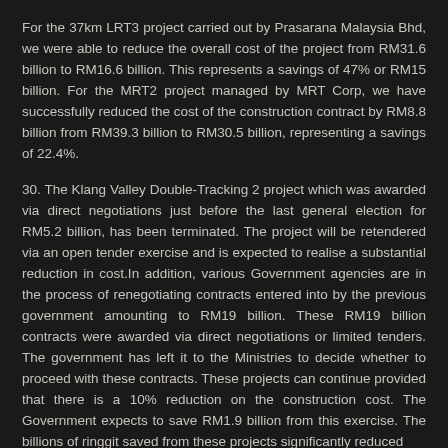For the 37km LRT3 project carried out by Prasarana Malaysia Bhd, we were able to reduce the overall cost of the project from RM31.6 billion to RM16.6 billion. This represents a savings of 47% or RM15 billion. For the MRT2 project managed by MRT Corp, we have successfully reduced the cost of the construction contract by RM8.8 billion from RM39.3 billion to RM30.5 billion, representing a savings of 22.4%.
30. The Klang Valley Double-Tracking 2 project which was awarded via direct negotiations just before the last general election for RM5.2 billion, has been terminated. The project will be retendered via an open tender exercise and is expected to realise a substantial reduction in cost.In addition, various Government agencies are in the process of renegotiating contracts entered into by the previous government amounting to RM19 billion. These RM19 billion contracts were awarded via direct negotiations or limited tenders. The government has left it to the Ministries to decide whether to proceed with these contracts. These projects can continue provided that there is a 10% reduction on the construction cost. The Government expects to save RM1.9 billion from this exercise. The billions of ringgit saved from these projects significantly reduced